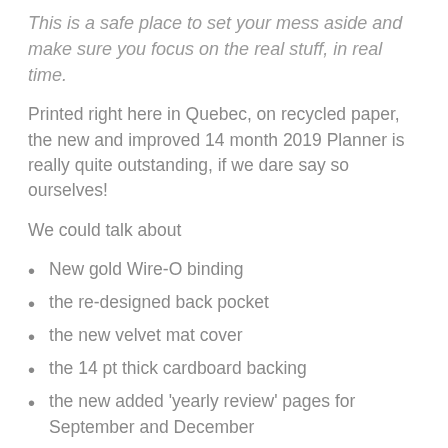This is a safe place to set your mess aside and make sure you focus on the real stuff, in real time.
Printed right here in Quebec, on recycled paper, the new and improved 14 month 2019 Planner is really quite outstanding, if we dare say so ourselves!
We could talk about
New gold Wire-O binding
the re-designed back pocket
the new velvet mat cover
the 14 pt thick cardboard backing
the new added 'yearly review' pages for September and December
the fact that it starts in November, so